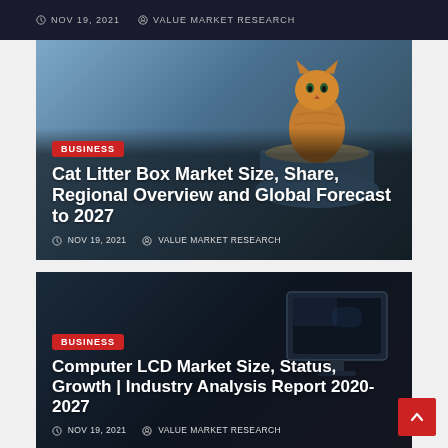NOV 19, 2021  VALUE MARKET RESEARCH
[Figure (photo): Cat sitting in a blue litter box, used as background image for market research article card]
BUSINESS
Cat Litter Box Market Size, Share, Regional Overview and Global Forecast to 2027
NOV 19, 2021  VALUE MARKET RESEARCH
[Figure (photo): Computer LCD monitor on dark background, used as background image for market research article card]
BUSINESS
Computer LCD Market Size, Status, Growth | Industry Analysis Report 2020-2027
NOV 19, 2021  VALUE MARKET RESEARCH